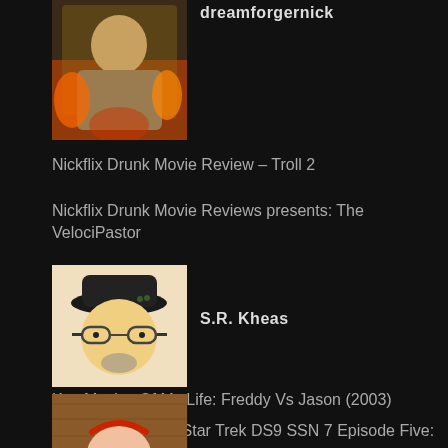[Figure (photo): Avatar image of dreamforgernick - a movie poster style photo with a person in a brown turtleneck against a fiery background]
dreamforgernick
Nickflix Drunk Movie Review – Troll 2
Nickflix Drunk Movie Reviews presents: The VelociPastor
[Figure (illustration): Cartoon avatar of S.R. Kheas - illustrated character with glasses, black hat, and beard]
S.R. Kheas
Key Movies Of My Life: Freddy Vs Jason (2003)
Retro TV Review: Star Trek DS9 SSN 7 Episode Five: Chrysalis
[Figure (illustration): Partial cartoon avatar at bottom, showing a character with red features on a wooden background]